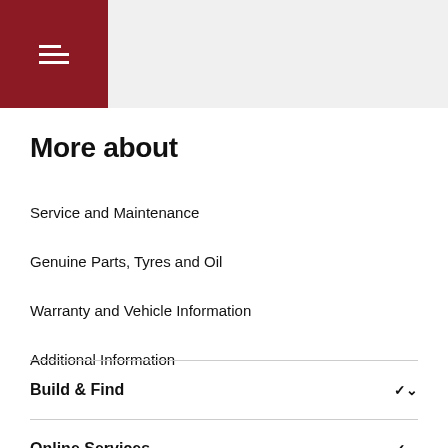More about
Service and Maintenance
Genuine Parts, Tyres and Oil
Warranty and Vehicle Information
Additional Information
Build & Find
Online Services